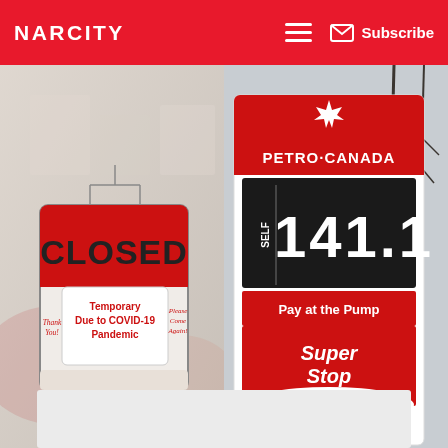NARCITY | Subscribe
[Figure (photo): Two photos side by side: left shows a 'CLOSED - Temporary Due to COVID-19 Pandemic' sign in a shop window with 'Thank You!' and 'Please Come Again' text; right shows a Petro-Canada gas station price sign reading 141.1 for SELF, with 'Pay at the Pump' and 'Super Stop Convenience' branding]
Jesada Wongsa | Dreamstime, John Tolkovski | Dreamstime